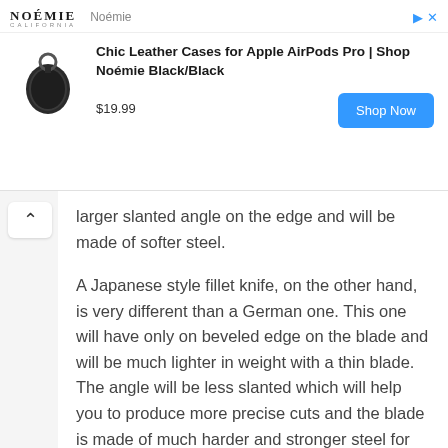[Figure (screenshot): Advertisement banner for Noémie California. Shows brand logo with 'NOÉMIE' in bold serif and 'Noémie' label. Contains a product image of a black leather AirPods case with keyring. Ad title: 'Chic Leather Cases for Apple AirPods Pro | Shop Noémie Black/Black'. Price $19.99 with a blue 'Shop Now' button. Navigation arrows and close button in top right.]
larger slanted angle on the edge and will be made of softer steel.
A Japanese style fillet knife, on the other hand, is very different than a German one. This one will have only on beveled edge on the blade and will be much lighter in weight with a thin blade. The angle will be less slanted which will help you to produce more precise cuts and the blade is made of much harder and stronger steel for extra sharpness.